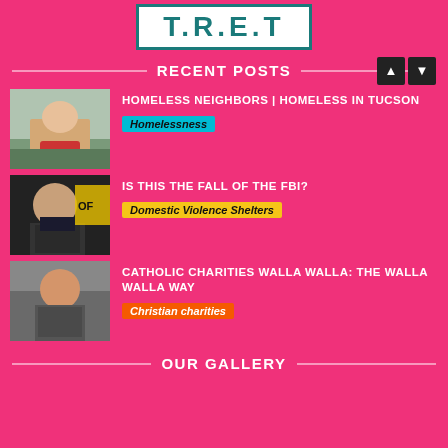[Figure (logo): T.R.E.T logo in teal on white bordered box]
RECENT POSTS
[Figure (photo): Person near a car with red bag]
HOMELESS NEIGHBORS | HOMELESS IN TUCSON
Homelessness
[Figure (photo): Man in suit, TV broadcast still, text 'OF']
IS THIS THE FALL OF THE FBI?
Domestic Violence Shelters
[Figure (photo): Young woman, appears candid]
CATHOLIC CHARITIES WALLA WALLA: THE WALLA WALLA WAY
Christian charities
OUR GALLERY